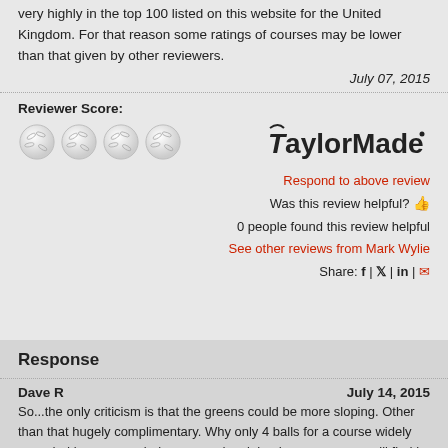very highly in the top 100 listed on this website for the United Kingdom. For that reason some ratings of courses may be lower than that given by other reviewers.
July 07, 2015
Reviewer Score:
[Figure (illustration): Four golf ball icons representing reviewer score]
[Figure (logo): TaylorMade logo]
Respond to above review
Was this review helpful? 👍
0 people found this review helpful
See other reviews from Mark Wylie
Share: f | 🐦 | in | ✉
Response
Dave R
July 14, 2015
So...the only criticism is that the greens could be more sloping. Other than that hugely complimentary. Why only 4 balls for a course widely regarded by many as being as good an inland course as you will find in the UK?